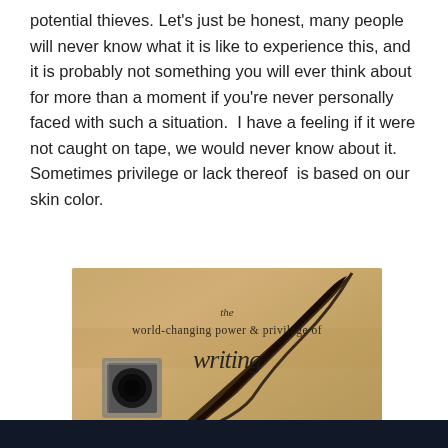potential thieves. Let's just be honest, many people will never know what it is like to experience this, and it is probably not something you will ever think about for more than a moment if you're never personally faced with such a situation.  I have a feeling if it were not caught on tape, we would never know about it. Sometimes privilege or lack thereof  is based on our skin color.
[Figure (photo): Sepia-toned image of an ink well and quill feather pen on parchment paper with text reading 'the world-changing power & privilege of writing' in script font]